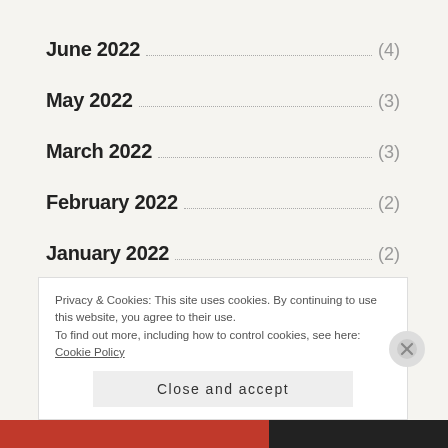June 2022 (4)
May 2022 (3)
March 2022 (3)
February 2022 (2)
January 2022 (2)
December 2021 (1)
Privacy & Cookies: This site uses cookies. By continuing to use this website, you agree to their use.
To find out more, including how to control cookies, see here: Cookie Policy
Close and accept